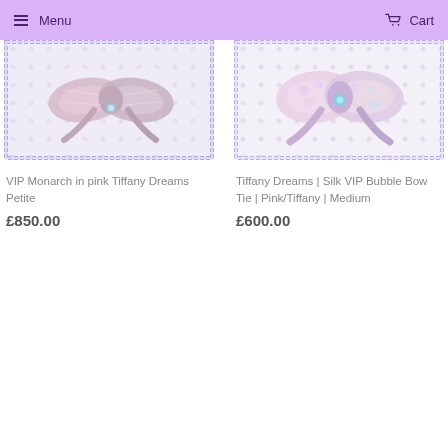Menu  Cart
[Figure (photo): Product photo of a sparkly rhinestone bow tie accessory on a dotted white background with crystal border - VIP Monarch in pink Tiffany Dreams Petite]
VIP Monarch in pink Tiffany Dreams Petite
£850.00
[Figure (photo): Product photo of a sparkly multi-color bubble bow tie accessory on a dotted white background with crystal border - Tiffany Dreams Silk VIP Bubble Bow Tie Pink/Tiffany Medium]
Tiffany Dreams | Silk VIP Bubble Bow Tie | Pink/Tiffany | Medium
£600.00